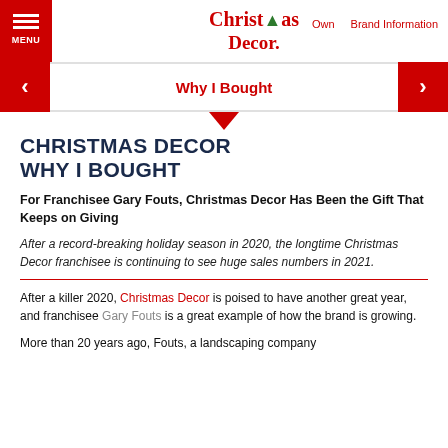Christmas Decor | Own | Brand Information | MENU
Why I Bought
CHRISTMAS DECOR WHY I BOUGHT
For Franchisee Gary Fouts, Christmas Decor Has Been the Gift That Keeps on Giving
After a record-breaking holiday season in 2020, the longtime Christmas Decor franchisee is continuing to see huge sales numbers in 2021.
After a killer 2020, Christmas Decor is poised to have another great year, and franchisee Gary Fouts is a great example of how the brand is growing.
More than 20 years ago, Fouts, a landscaping company